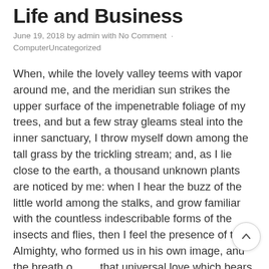Life and Business
June 19, 2018 by admin with No Comment · ComputerUncategorized
When, while the lovely valley teems with vapor around me, and the meridian sun strikes the upper surface of the impenetrable foliage of my trees, and but a few stray gleams steal into the inner sanctuary, I throw myself down among the tall grass by the trickling stream; and, as I lie close to the earth, a thousand unknown plants are noticed by me: when I hear the buzz of the little world among the stalks, and grow familiar with the countless indescribable forms of the insects and flies, then I feel the presence of the Almighty, who formed us in his own image, and the breath of that universal love which bears and sustains us, as it floats around us in an eternity of bliss; and